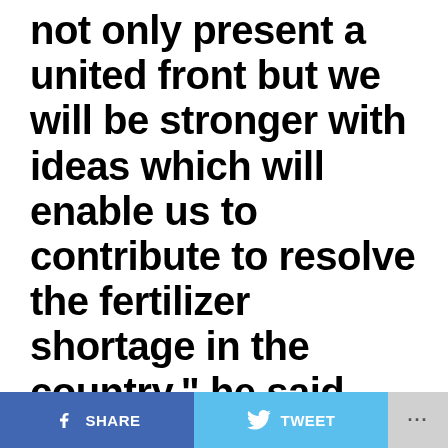not only present a united front but we will be stronger with ideas which will enable us to contribute to resolve the fertilizer shortage in the country,” he said.
He recounted how JGC played an instrumental role in the country’s efforts to tackle Covid.
In a presentation on the need to form such an association, the Deputy Executive Director of Centre for Indigenous Knowledge of Organisational Development
SHARE   TWEET   ...